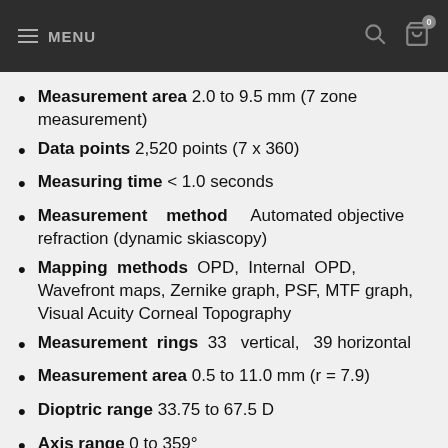MENU
Measurement area 2.0 to 9.5 mm (7 zone measurement)
Data points 2,520 points (7 x 360)
Measuring time < 1.0 seconds
Measurement method Automated objective refraction (dynamic skiascopy)
Mapping methods OPD, Internal OPD, Wavefront maps, Zernike graph, PSF, MTF graph, Visual Acuity Corneal Topography
Measurement rings 33 vertical, 39 horizontal
Measurement area 0.5 to 11.0 mm (r = 7.9)
Dioptric range 33.75 to 67.5 D
Axis range 0 to 359°